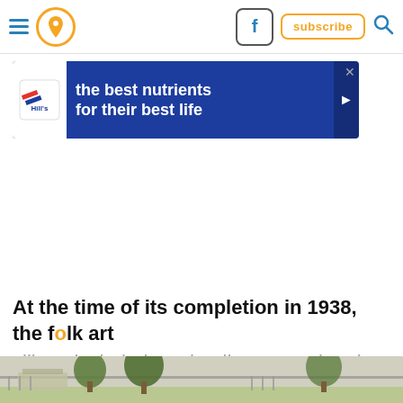Navigation bar with hamburger menu, location pin button, Facebook button, subscribe button, search icon
[Figure (other): Hill's pet nutrition advertisement banner: blue background with Hill's logo and text 'the best nutrients for their best life']
At the time of its completion in 1938, the folk art village included a schoolhouse, a church, a few houses, a windmill, and a bridge.
[Figure (photo): Bottom strip showing a partial outdoor scene with trees, a fence, and buildings in the background]